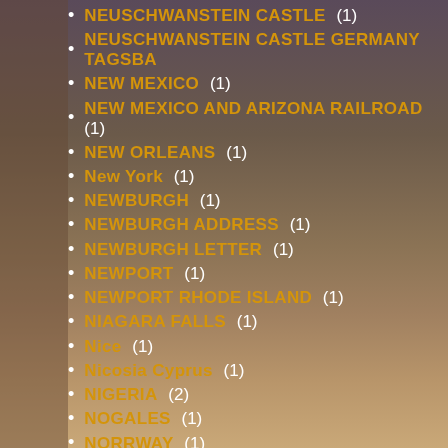NEUSCHWANSTEIN CASTLE (1)
NEUSCHWANSTEIN CASTLE GERMANY TAGSBA...
NEW MEXICO (1)
NEW MEXICO AND ARIZONA RAILROAD (1)
NEW ORLEANS (1)
New York (1)
NEWBURGH (1)
NEWBURGH ADDRESS (1)
NEWBURGH LETTER (1)
NEWPORT (1)
NEWPORT RHODE ISLAND (1)
NIAGARA FALLS (1)
Nice (1)
Nicosia Cyprus (1)
NIGERIA (2)
NOGALES (1)
NORRWAY (1)